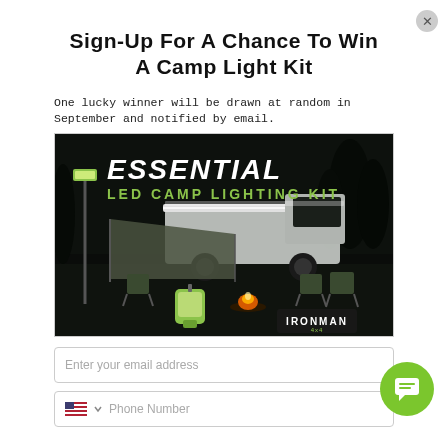Sign-Up For A Chance To Win A Camp Light Kit
One lucky winner will be drawn at random in September and notified by email.
[Figure (photo): Product advertisement image for Essential LED Camp Lighting Kit by Ironman 4x4, showing a white pickup truck with roof rack lighting, camping chairs, a campfire, and a green LED lantern in a dark outdoor setting.]
Enter your email address
Phone Number